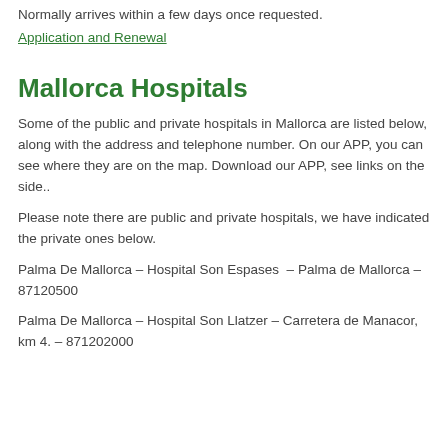Normally arrives within a few days once requested.
Application and Renewal
Mallorca Hospitals
Some of the public and private hospitals in Mallorca are listed below, along with the address and telephone number. On our APP, you can see where they are on the map. Download our APP, see links on the side..
Please note there are public and private hospitals, we have indicated the private ones below.
Palma De Mallorca – Hospital Son Espases  – Palma de Mallorca – 87120500
Palma De Mallorca – Hospital Son Llatzer – Carretera de Manacor, km 4. – 871202000